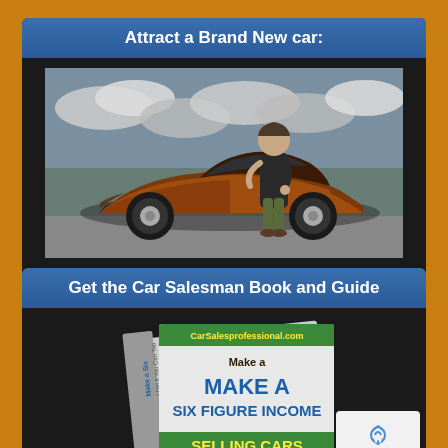Attract a Brand New car:
[Figure (photo): A man leaning on a bronze/copper colored exotic sports car, outdoors with cloudy sky background]
Get the Car Salesman Book and Guide
[Figure (photo): Book cover: 'Make a Six Figure Income Selling Cars - I Did It You Can Too' from CarSalesprofessional.com, shown as a 3D angled book]
[Figure (logo): reCAPTCHA logo badge with Privacy and Terms text]